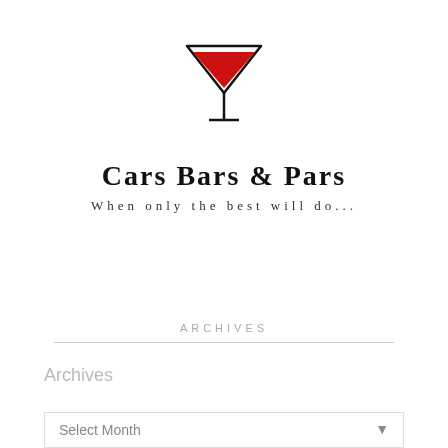[Figure (logo): Martini glass icon with red triangular fill inside the glass bowl, outlined in black, with a stem and base]
Cars Bars & Pars
When only the best will do...
ARCHIVES
Archives
Select Month